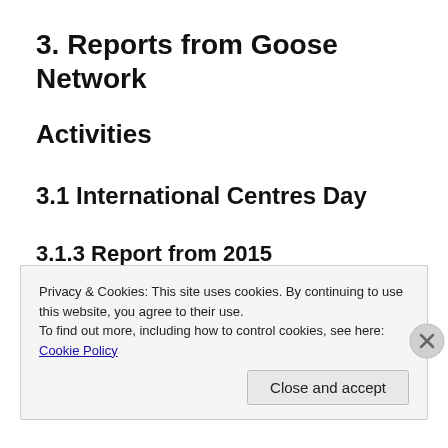3. Reports from Goose Network
Activities
3.1 International Centres Day
3.1.3 Report from 2015
Privacy & Cookies: This site uses cookies. By continuing to use this website, you agree to their use.
To find out more, including how to control cookies, see here: Cookie Policy
Close and accept